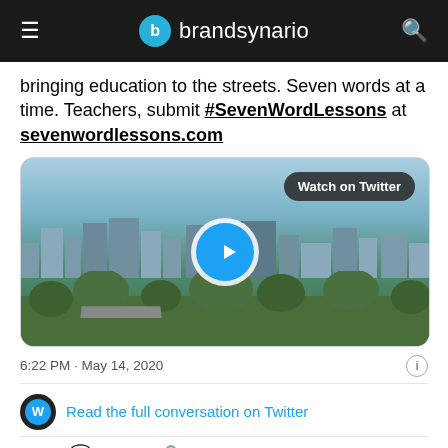brandsynario
bringing education to the streets. Seven words at a time. Teachers, submit #SevenWordLessons at sevenwordlessons.com
[Figure (screenshot): Twitter embedded video card showing aerial view of a city with a blue play button and 'Watch on Twitter' badge]
6:22 PM · May 14, 2020
Read the full conversation on Twitter
9   Reply   Copy link